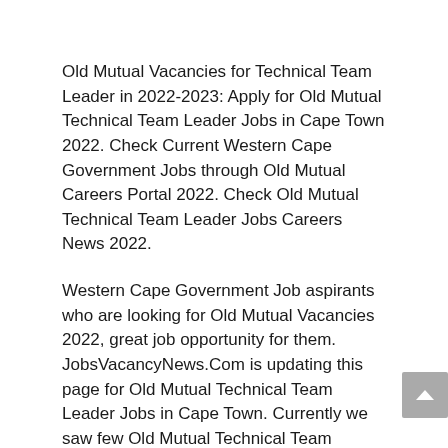Old Mutual Vacancies for Technical Team Leader in 2022-2023: Apply for Old Mutual Technical Team Leader Jobs in Cape Town 2022. Check Current Western Cape Government Jobs through Old Mutual Careers Portal 2022. Check Old Mutual Technical Team Leader Jobs Careers News 2022.
Western Cape Government Job aspirants who are looking for Old Mutual Vacancies 2022, great job opportunity for them. JobsVacancyNews.Com is updating this page for Old Mutual Technical Team Leader Jobs in Cape Town. Currently we saw few Old Mutual Technical Team Leader Vacancies 2022 on official website of Old